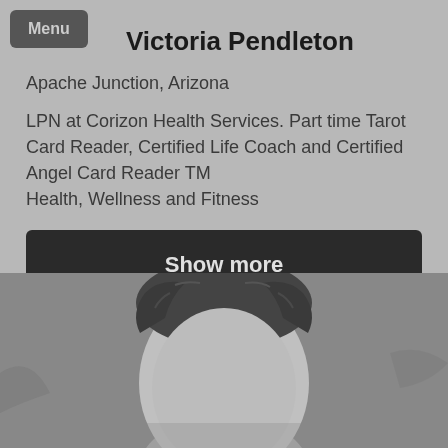Menu
Victoria Pendleton
Apache Junction, Arizona
LPN at Corizon Health Services. Part time Tarot Card Reader, Certified Life Coach and Certified Angel Card Reader TM
Health, Wellness and Fitness
Show more
[Figure (photo): Black and white photo showing the top of a person's head with dark curly hair, cropped at nose level.]